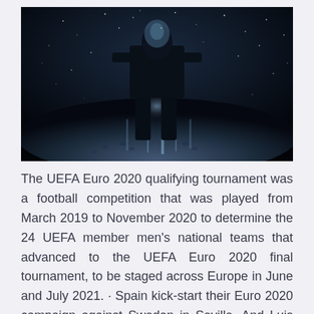[Figure (photo): Dark atmospheric photo of a football player silhouetted from behind standing in rain or snow on a wet surface, dramatic dark blue/black tones with light reflecting off the ground]
The UEFA Euro 2020 qualifying tournament was a football competition that was played from March 2019 to November 2020 to determine the 24 UEFA member men's national teams that advanced to the UEFA Euro 2020 final tournament, to be staged across Europe in June and July 2021. · Spain kick-start their Euro 2020 campaign against Sweden in Seville. And Luis Enrique's